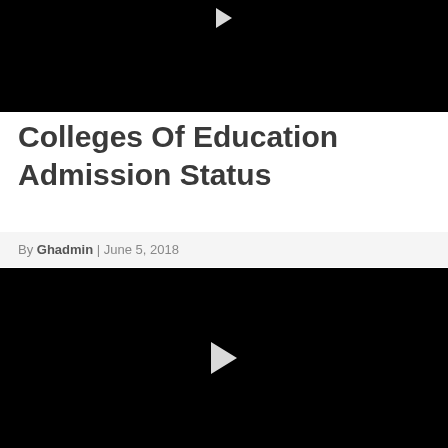[Figure (screenshot): Black video player thumbnail at top with play button visible at top center]
Colleges Of Education Admission Status
By Ghadmin | June 5, 2018
[Figure (screenshot): Black video player thumbnail at bottom with white play button in center]